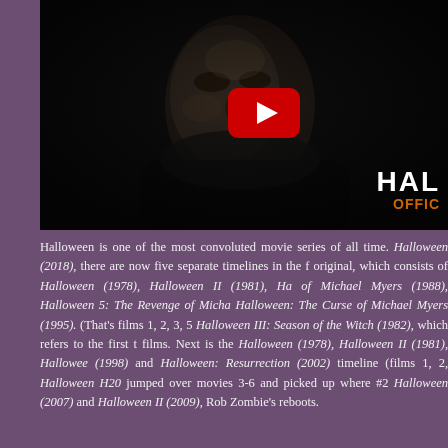[Figure (screenshot): YouTube video thumbnail showing a dark masked figure (Michael Myers) with a YouTube play button overlay. Bottom right shows text 'HAL' in white bold and 'OFFIC' in orange, suggesting 'Halloween - Official Trailer'.]
Halloween is one of the most convoluted movie series of all time. Halloween (2018), there are now five separate timelines in the franchise. The original, which consists of Halloween (1978), Halloween II (1981), Halloween 4: The Return of Michael Myers (1988), Halloween 5: The Revenge of Michael Myers (1989) and Halloween: The Curse of Michael Myers (1995). (That's films 1, 2, 3, 5, and 6.) Then there's Halloween III: Season of the Witch (1982), which refers to the first two Halloween films. Next is the Halloween (1978), Halloween II (1981), Halloween H20 (1998) and Halloween: Resurrection (2002) timeline (films 1, 2, 7, and 8) — Halloween H20 jumped over movies 3-6 and picked up where #2 left off. Then Halloween (2007) and Halloween II (2009), Rob Zombie's reboots.